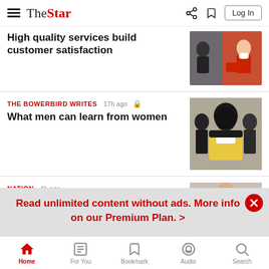The Star — Log In
High quality services build customer satisfaction
THE BOWERBIRD WRITES  17h ago
What men can learn from women
NATION  4h ago
Read unlimited content without ads. More info on our Premium Plan. >
Home  For You  Bookmark  Audio  Search